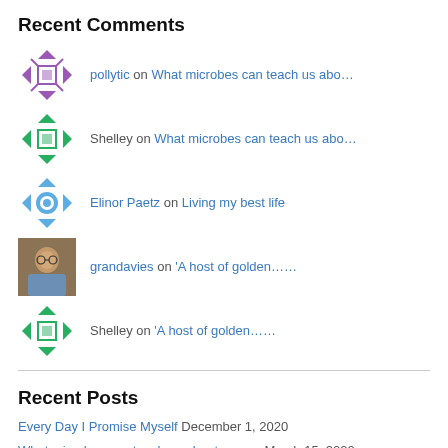Recent Comments
pollytic on What microbes can teach us abo…
Shelley on What microbes can teach us abo…
Elinor Paetz on Living my best life
grandavies on 'A host of golden……
Shelley on 'A host of golden……
Recent Posts
Every Day I Promise Myself December 1, 2020
What microbes can teach us about power: March 15, 2020